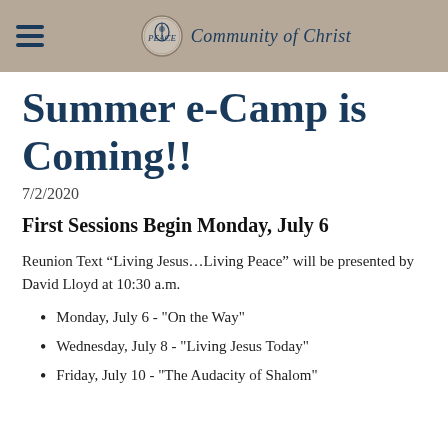Community of Christ
Summer e-Camp is Coming!!
7/2/2020
First Sessions Begin Monday, July 6
Reunion Text “Living Jesus…Living Peace” will be presented by David Lloyd at 10:30 a.m.
Monday, July 6 - "On the Way"
Wednesday, July 8 - "Living Jesus Today"
Friday, July 10 - "The Audacity of Shalom"